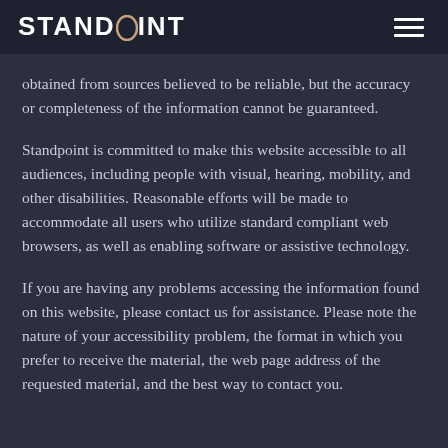STANDPOINT
obtained from sources believed to be reliable, but the accuracy or completeness of the information cannot be guaranteed.
Standpoint is committed to make this website accessible to all audiences, including people with visual, hearing, mobility, and other disabilities. Reasonable efforts will be made to accommodate all users who utilize standard compliant web browsers, as well as enabling software or assistive technology.
If you are having any problems accessing the information found on this website, please contact us for assistance. Please note the nature of your accessibility problem, the format in which you prefer to receive the material, the web page address of the requested material, and the best way to contact you.